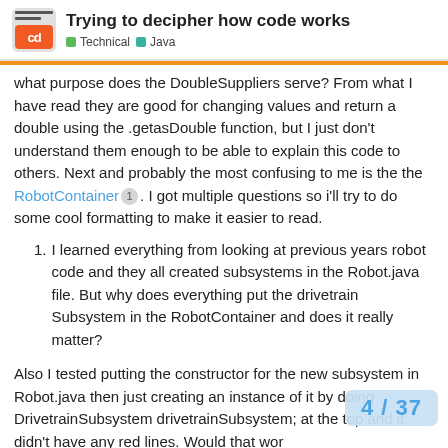Trying to decipher how code works — Technical, Java
what purpose does the DoubleSuppliers serve? From what I have read they are good for changing values and return a double using the .getasDouble function, but I just don't understand them enough to be able to explain this code to others. Next and probably the most confusing to me is the the RobotContainer 1 . I got multiple questions so i'll try to do some cool formatting to make it easier to read.
I learned everything from looking at previous years robot code and they all created subsystems in the Robot.java file. But why does everything put the drivetrain Subsystem in the RobotContainer and does it really matter?
Also I tested putting the constructor for the new subsystem in Robot.java then just creating an instance of it by doing DrivetrainSubsystem drivetrainSubsystem; at the top and it didn't have any red lines. Would that wor
4 / 37